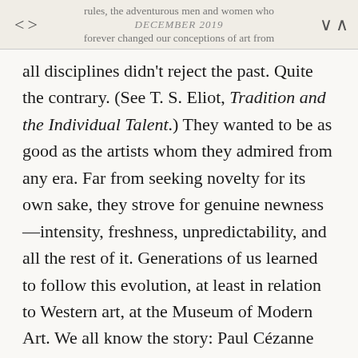rules, the adventurous men and women who DECEMBER 2019 forever changed our conceptions of art from
all disciplines didn't reject the past. Quite the contrary. (See T. S. Eliot, Tradition and the Individual Talent.) They wanted to be as good as the artists whom they admired from any era. Far from seeking novelty for its own sake, they strove for genuine newness—intensity, freshness, unpredictability, and all the rest of it. Generations of us learned to follow this evolution, at least in relation to Western art, at the Museum of Modern Art. We all know the story: Paul Cézanne aspiring “to do Poussin over from nature” and ending up